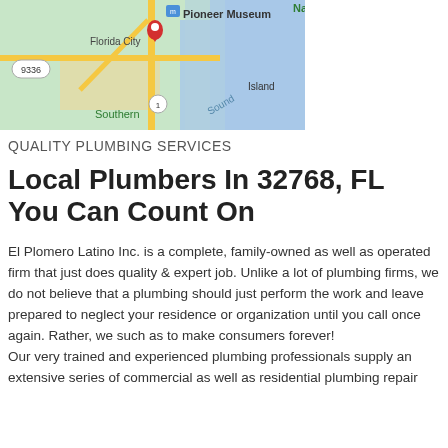[Figure (map): Google Maps screenshot showing Florida City area, with Pioneer Museum label, route 9336 and route 1, Southern area label, Island and Sound text, a red location pin marker, yellow roads on green background with blue water areas.]
QUALITY PLUMBING SERVICES
Local Plumbers In 32768, FL You Can Count On
El Plomero Latino Inc. is a complete, family-owned as well as operated firm that just does quality & expert job. Unlike a lot of plumbing firms, we do not believe that a plumbing should just perform the work and leave prepared to neglect your residence or organization until you call once again. Rather, we such as to make consumers forever!
Our very trained and experienced plumbing professionals supply an extensive series of commercial as well as residential plumbing repair